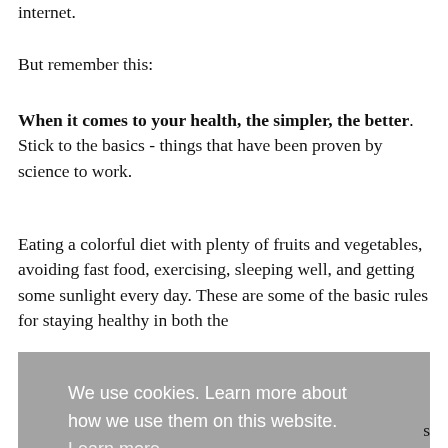internet.
But remember this:
When it comes to your health, the simpler, the better. Stick to the basics - things that have been proven by science to work.
Eating a colorful diet with plenty of fruits and vegetables, avoiding fast food, exercising, sleeping well, and getting some sunlight every day. These are some of the basic rules for staying healthy in both the
We use cookies. Learn more about how we use them on this website. Learn more
Thanks, let's proceed